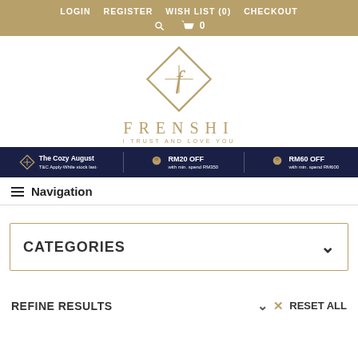LOGIN   REGISTER   WISH LIST (0)   CHECKOUT
[Figure (logo): Frenshi brand logo with diamond shape containing a stylized 'f', text FRENSHI and tagline I TRUST AND LOVE YOU]
[Figure (infographic): Dark navy promo banner: The Cozy August T&C Apply While stock last | RM20 OFF with min. spend RM350 | RM60 OFF with min. spend RM600]
Navigation
CATEGORIES
REFINE RESULTS   RESET ALL